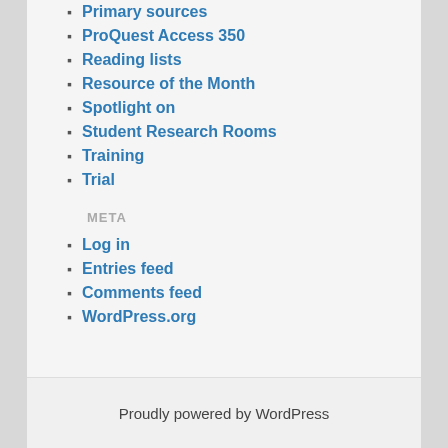Primary sources
ProQuest Access 350
Reading lists
Resource of the Month
Spotlight on
Student Research Rooms
Training
Trial
META
Log in
Entries feed
Comments feed
WordPress.org
Proudly powered by WordPress